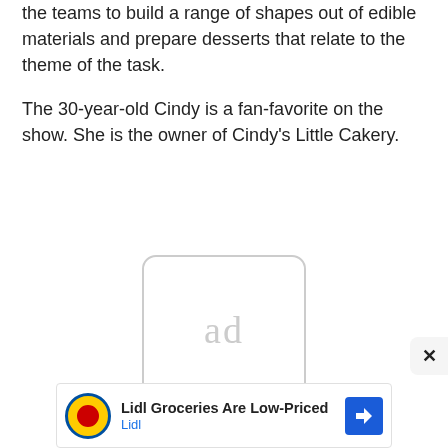the teams to build a range of shapes out of edible materials and prepare desserts that relate to the theme of the task.
The 30-year-old Cindy is a fan-favorite on the show. She is the owner of Cindy's Little Cakery.
[Figure (other): Ad placeholder box with 'ad' text in light gray, rounded rectangle border]
[Figure (other): Lidl advertisement banner: Lidl logo, text 'Lidl Groceries Are Low-Priced' and 'Lidl' in blue, blue navigation arrow icon]